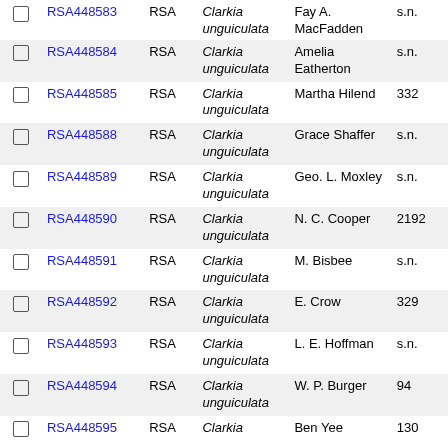|  | ID | Institution | Taxon | Collector | Number |
| --- | --- | --- | --- | --- | --- |
| ☐ | RSA448583 | RSA | Clarkia unguiculata | Fay A. MacFadden | s.n. |
| ☐ | RSA448584 | RSA | Clarkia unguiculata | Amelia Eatherton | s.n. |
| ☐ | RSA448585 | RSA | Clarkia unguiculata | Martha Hilend | 332 |
| ☐ | RSA448588 | RSA | Clarkia unguiculata | Grace Shaffer | s.n. |
| ☐ | RSA448589 | RSA | Clarkia unguiculata | Geo. L. Moxley | s.n. |
| ☐ | RSA448590 | RSA | Clarkia unguiculata | N. C. Cooper | 2192 |
| ☐ | RSA448591 | RSA | Clarkia unguiculata | M. Bisbee | s.n. |
| ☐ | RSA448592 | RSA | Clarkia unguiculata | E. Crow | 329 |
| ☐ | RSA448593 | RSA | Clarkia unguiculata | L. E. Hoffman | s.n. |
| ☐ | RSA448594 | RSA | Clarkia unguiculata | W. P. Burger | 94 |
| ☐ | RSA448595 | RSA | Clarkia | Ben Yee | 130 |